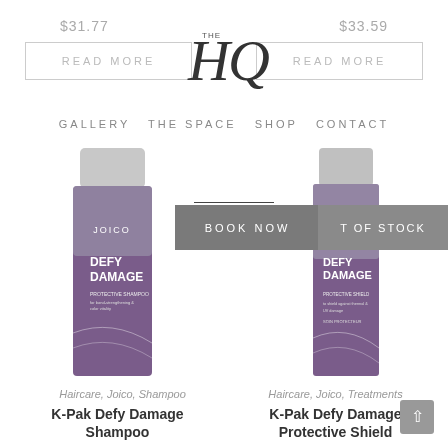$31.77
$33.59
READ MORE
READ MORE
[Figure (logo): The HQ logo - stylized cursive HQ with 'THE' text]
GALLERY  THE SPACE  SHOP  CONTACT
[Figure (photo): Joico Defy Damage Protective Shampoo bottle - silver top transitioning to purple]
BOOK NOW
T OF STOCK
[Figure (photo): Joico Defy Damage Protective Shield bottle - silver top transitioning to purple]
Haircare, Joico, Shampoo
Haircare, Joico, Treatments
K-Pak Defy Damage Shampoo
K-Pak Defy Damage Protective Shield
$31.77
$33.59